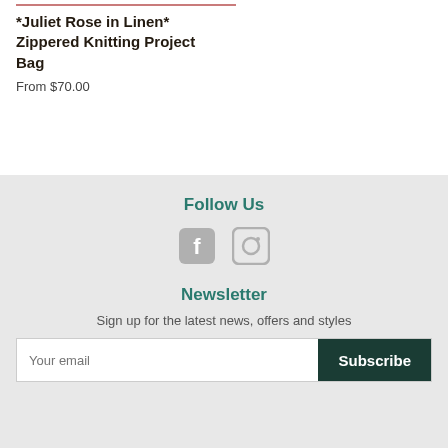*Juliet Rose in Linen* Zippered Knitting Project Bag
From $70.00
Follow Us
[Figure (illustration): Facebook and Instagram social media icons in grey]
Newsletter
Sign up for the latest news, offers and styles